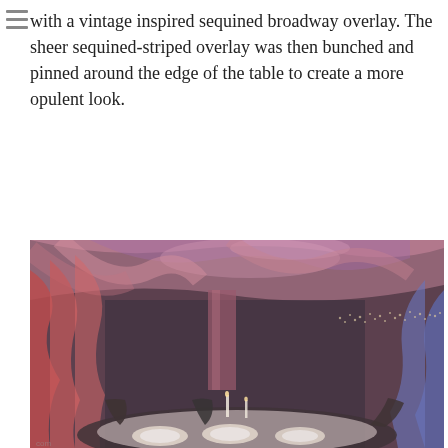with a vintage inspired sequined broadway overlay. The sheer sequined-striped overlay was then bunched and pinned around the edge of the table to create a more opulent look.
[Figure (photo): Interior photo of an elegantly decorated event venue with dramatic red and purple draping on the ceiling and walls, dim moody lighting, and table settings visible in the foreground with black chairs and white place settings.]